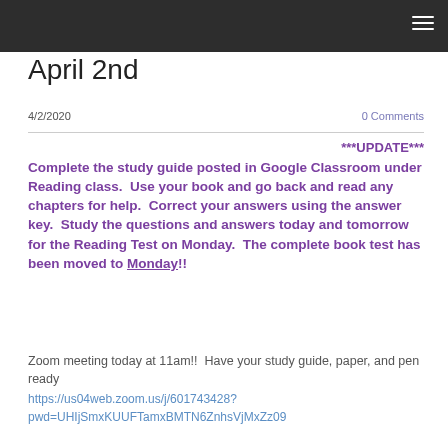April 2nd
4/2/2020    0 Comments
***UPDATE*** Complete the study guide posted in Google Classroom under Reading class.  Use your book and go back and read any chapters for help.  Correct your answers using the answer key.  Study the questions and answers today and tomorrow for the Reading Test on Monday.  The complete book test has been moved to Monday!!
Zoom meeting today at 11am!!  Have your study guide, paper, and pen ready
https://us04web.zoom.us/j/601743428?pwd=UHIjSmxKUUFTamxBMTN6ZnhsVjMxZz09